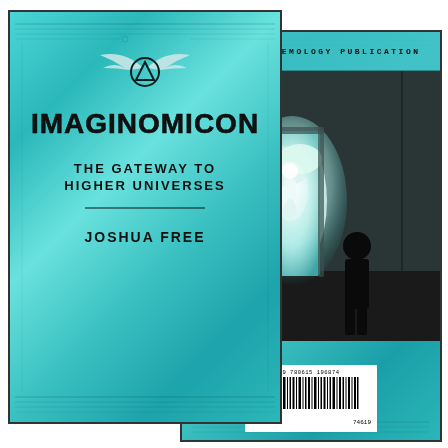[Figure (illustration): Book cover display showing front and back covers of 'Imaginomicon: The Gateway to Higher Universes' by Joshua Free. Front cover (left, overlapping) features a teal/turquoise crystalline background with circuit board overlay patterns, a winged triangle/circle symbol, bold title 'IMAGINOMICON', subtitle 'THE GATEWAY TO HIGHER UNIVERSES', and author name 'JOSHUA FREE'. Back cover (right, partially behind) shows the same teal background at top with text 'LUCITE SYSTEMOLOGY PUBLICATION', a dark photorealistic scene of a silhouetted figure standing before an open doorway with bright light and a floating luminous figure beyond, and a barcode at the bottom.]